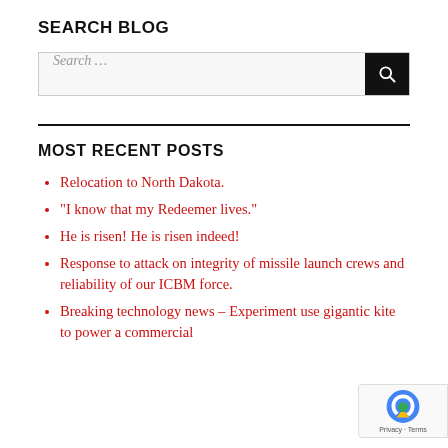SEARCH BLOG
[Figure (other): Search bar with text input field showing 'Search ...' placeholder and a black search button with magnifying glass icon]
MOST RECENT POSTS
Relocation to North Dakota.
“I know that my Redeemer lives.”
He is risen! He is risen indeed!
Response to attack on integrity of missile launch crews and reliability of our ICBM force.
Breaking technology news – Experiment use gigantic kite to power a commercial